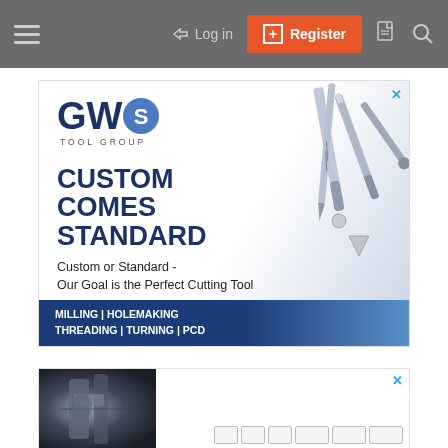Navigation bar with hamburger menu, Log in, Register button, document icon, search icon
[Figure (illustration): GWS Tool Group advertisement banner. Logo with 'GWS TOOL GROUP', headline 'CUSTOM COMES STANDARD', subtext 'Custom or Standard - Our Goal is the Perfect Cutting Tool', bottom bar 'MILLING | HOLEMAKING THREADING | TURNING | PCD', with cutting tool imagery on the right.]
[Figure (photo): Second advertisement banner showing an industrial machine or cutting tool setup photo on the left, with close button (X) on right.]